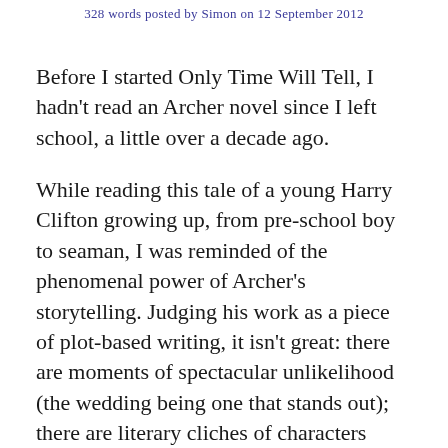328 words posted by Simon on 12 September 2012
Before I started Only Time Will Tell, I hadn't read an Archer novel since I left school, a little over a decade ago.
While reading this tale of a young Harry Clifton growing up, from pre-school boy to seaman, I was reminded of the phenomenal power of Archer's storytelling. Judging his work as a piece of plot-based writing, it isn't great: there are moments of spectacular unlikelihood (the wedding being one that stands out); there are literary cliches of characters littered through the text, from a slightly-eccentric brave old war veteran, to a caddish owner of a sleazy nightclub; and